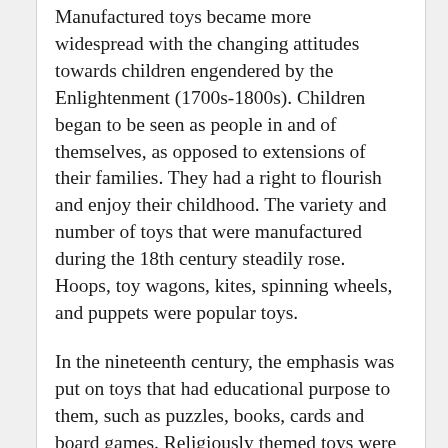Manufactured toys became more widespread with the changing attitudes towards children engendered by the Enlightenment (1700s-1800s). Children began to be seen as people in and of themselves, as opposed to extensions of their families. They had a right to flourish and enjoy their childhood. The variety and number of toys that were manufactured during the 18th century steadily rose. Hoops, toy wagons, kites, spinning wheels, and puppets were popular toys.
In the nineteenth century, the emphasis was put on toys that had educational purpose to them, such as puzzles, books, cards and board games. Religiously themed toys were also popular, including a model Noah's Ark with miniature animals and objects from